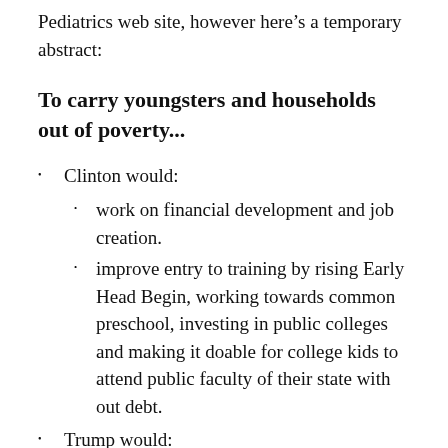Pediatrics web site, however here's a temporary abstract:
To carry youngsters and households out of poverty...
Clinton would:
work on financial development and job creation.
improve entry to training by rising Early Head Begin, working towards common preschool, investing in public colleges and making it doable for college kids to attend public faculty of their state with out debt.
Trump would: